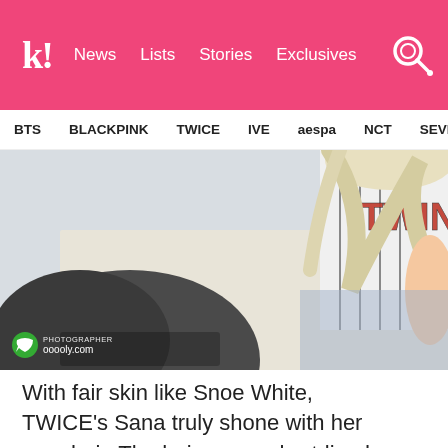k! News  Lists  Stories  Exclusives
BTS  BLACKPINK  TWICE  IVE  aespa  NCT  SEVE
[Figure (photo): Close-up photo of TWICE's Sana with gray/blonde hair, wearing a baseball jersey with 'TWINS' text visible. A dark bag or jacket is visible in the foreground. Watermark reads 'PHOTOGRAPHER ooooly.com' with a green speech bubble icon.]
With fair skin like Snoe White, TWICE's Sana truly shone with her gray hair. The hair was a short-lived hairdo in 2016 but it definitely refreshed all the ONCEs. Even her eyebrows were dyed ash gray!